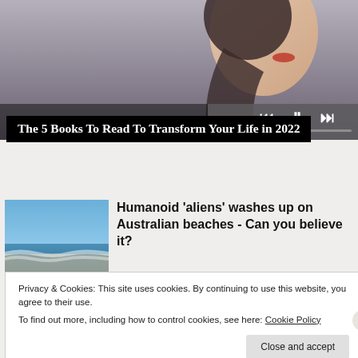[Figure (photo): A woman with dark braided hair and red lips, photographed from the side/profile, gray background. Media player controls and progress bar visible at the bottom.]
The 5 Books To Read To Transform Your Life in 2022
[Figure (photo): Ocean beach scene with blue sky and waves.]
Humanoid 'aliens' washes up on Australian beaches - Can you believe it?
Privacy & Cookies: This site uses cookies. By continuing to use this website, you agree to their use.
To find out more, including how to control cookies, see here: Cookie Policy
Close and accept